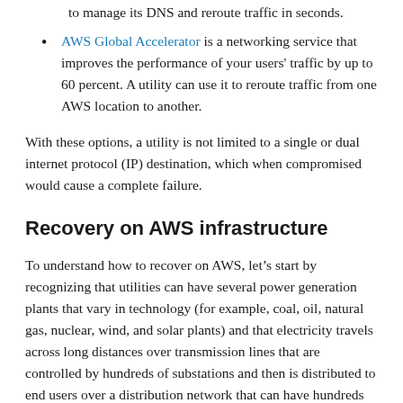to manage its DNS and reroute traffic in seconds.
AWS Global Accelerator is a networking service that improves the performance of your users' traffic by up to 60 percent. A utility can use it to reroute traffic from one AWS location to another.
With these options, a utility is not limited to a single or dual internet protocol (IP) destination, which when compromised would cause a complete failure.
Recovery on AWS infrastructure
To understand how to recover on AWS, let’s start by recognizing that utilities can have several power generation plants that vary in technology (for example, coal, oil, natural gas, nuclear, wind, and solar plants) and that electricity travels across long distances over transmission lines that are controlled by hundreds of substations and then is distributed to end users over a distribution network that can have hundreds to thousands of substations.
Communications and networking are a critical aspect of a utility’s